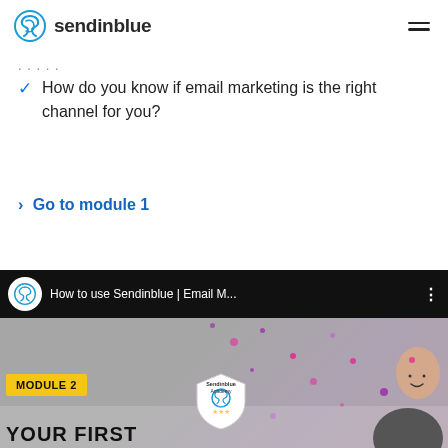sendinblue
....
How do you know if email marketing is the right channel for you?
> Go to module 1
[Figure (screenshot): Video thumbnail for 'How to use Sendinblue | Email M...' showing Module 2 badge, Sendinblue Academy shield, confetti background, and a person. Below reads 'YOUR FIRST']